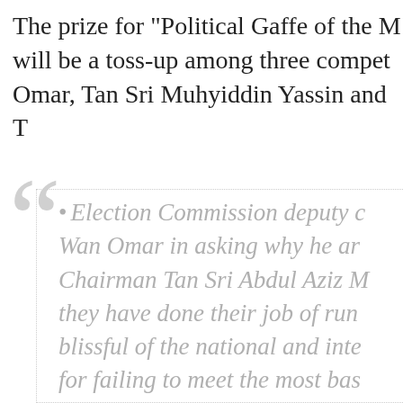The prize for "Political Gaffe of the M... will be a toss-up among three compet... Omar, Tan Sri Muhyiddin Yassin and T...
Election Commission deputy c... Wan Omar in asking why he ar... Chairman Tan Sri Abdul Aziz M... they have done their job of run... blissful of the national and inte... for failing to meet the most bas... free and fair elections as to cau... tion's 70... something...